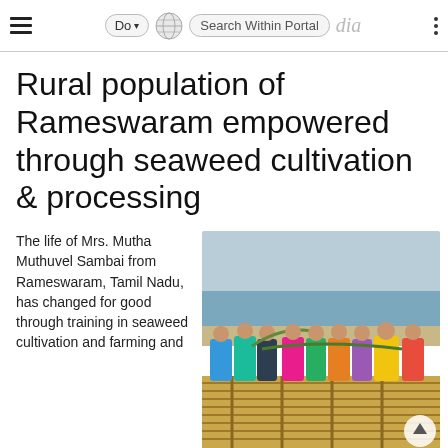Do | Search Within Portal | Wikipedia
Rural population of Rameswaram empowered through seaweed cultivation & processing
The life of Mrs. Mutha Muthuvel Sambai from Rameswaram, Tamil Nadu, has changed for good through training in seaweed cultivation and farming and
[Figure (photo): Group of women standing on a bamboo raft near a beach, handling seaweed, with the sea visible in the background.]